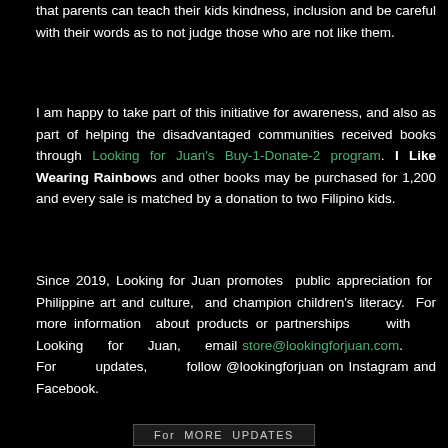that parents can teach their kids kindness, inclusion and be careful with their words as to not judge those who are not like them.
I am happy to take part of this initiative for awareness, and also as part of helping the disadvantaged communities received books through Looking for Juan's Buy-1-Donate-2 program. I Like Wearing Rainbows and other books may be purchased for 1,200 and every sale is matched by a donation to two Filipino kids.
Since 2019, Looking for Juan promotes public appreciation for Philippine art and culture, and champion children's literacy. For more information about products or partnerships with Looking for Juan, email store@lookingforjuan.com. For updates, follow @lookingforjuan on Instagram and Facebook.
For MORE UPDATES